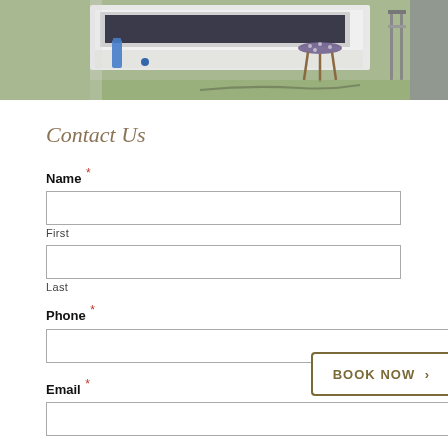[Figure (photo): Outdoor event setup photo showing equipment case, stool, and chairs on grass, cropped at top of page]
Contact Us
Name *
First
Last
Phone *
Email *
BOOK NOW >